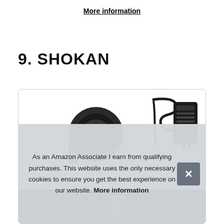More information
9. SHOKAN
[Figure (photo): Product photo showing a camera-like lens attachment on the left and a power adapter/charger with coiled cable on the right, inside a rounded border box. Bottom portion shows additional dark product accessories.]
As an Amazon Associate I earn from qualifying purchases. This website uses the only necessary cookies to ensure you get the best experience on our website. More information